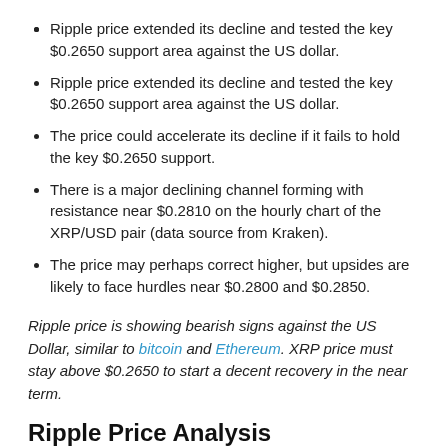Ripple price extended its decline and tested the key $0.2650 support area against the US dollar.
The price could accelerate its decline if it fails to hold the key $0.2650 support.
There is a major declining channel forming with resistance near $0.2810 on the hourly chart of the XRP/USD pair (data source from Kraken).
The price may perhaps correct higher, but upsides are likely to face hurdles near $0.2800 and $0.2850.
Ripple price is showing bearish signs against the US Dollar, similar to bitcoin and Ethereum. XRP price must stay above $0.2650 to start a decent recovery in the near term.
Ripple Price Analysis